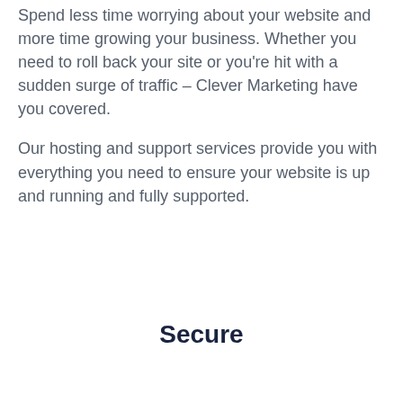Spend less time worrying about your website and more time growing your business. Whether you need to roll back your site or you're hit with a sudden surge of traffic – Clever Marketing have you covered.
Our hosting and support services provide you with everything you need to ensure your website is up and running and fully supported.
Secure